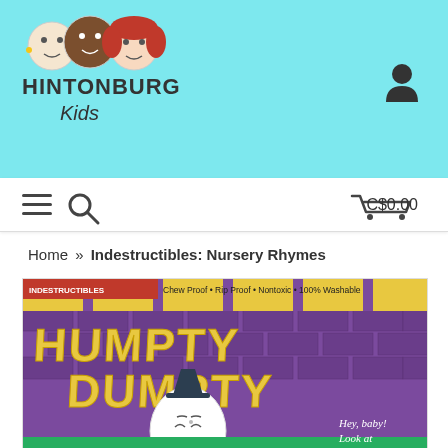[Figure (logo): Hintonburg Kids logo with three cartoon children faces and text HINTONBURG Kids]
[Figure (illustration): User/account icon silhouette in top right of header]
[Figure (screenshot): Navigation bar with hamburger menu, search icon, and cart showing C$0.00]
Home » Indestructibles: Nursery Rhymes
[Figure (photo): Book cover for Indestructibles: Humpty Dumpty. Shows Humpty Dumpty character on purple wall with yellow sky background. Text reads: INDESTRUCTIBLES Chew Proof • Rip Proof • Nontoxic • 100% Washable. Large text says HUMPTY DUMPTY. Bottom right corner says Hey, baby! Look at]